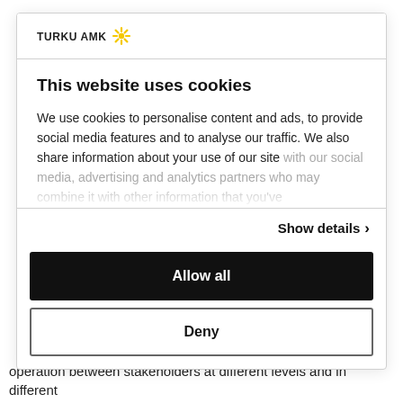[Figure (logo): Turku AMK logo with yellow sunburst asterisk icon]
This website uses cookies
We use cookies to personalise content and ads, to provide social media features and to analyse our traffic. We also share information about your use of our site with our social media, advertising and analytics partners who may combine it with other information that you've
Show details >
Allow all
Deny
operation between stakeholders at different levels and in different